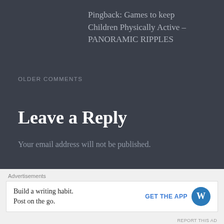Pingback: Games to keep Children Physically Active – PANORAMIC RIPPLES
OLDER COMMENTS
Leave a Reply
Your email address will not be published.
[Figure (other): Advertisement banner: 'Build a writing habit. Post on the go.' with GET THE APP button and WordPress logo]